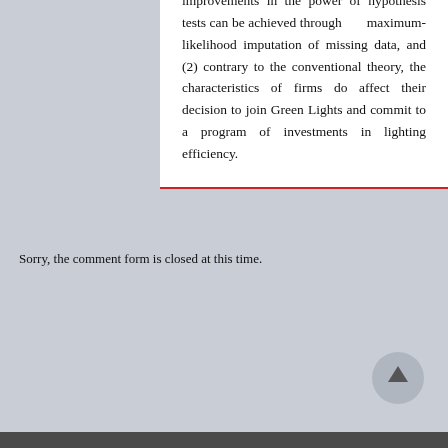improvements in the power of hypothesis tests can be achieved through maximum-likelihood imputation of missing data, and (2) contrary to the conventional theory, the characteristics of firms do affect their decision to join Green Lights and commit to a program of investments in lighting efficiency.
Sorry, the comment form is closed at this time.